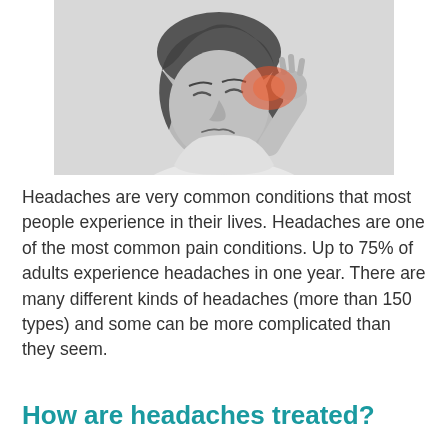[Figure (photo): Black and white photo of a woman grimacing in pain, holding her hand to her temple which is highlighted in red/orange, suggesting headache pain.]
Headaches are very common conditions that most people experience in their lives. Headaches are one of the most common pain conditions. Up to 75% of adults experience headaches in one year. There are many different kinds of headaches (more than 150 types) and some can be more complicated than they seem.
How are headaches treated?